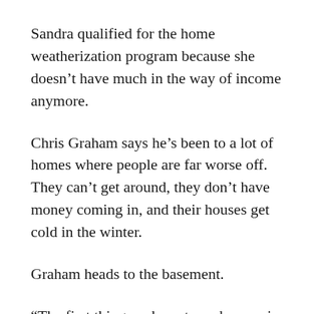Sandra qualified for the home weatherization program because she doesn’t have much in the way of income anymore.
Chris Graham says he’s been to a lot of homes where people are far worse off. They can’t get around, they don’t have money coming in, and their houses get cold in the winter.
Graham heads to the basement.
“The first thing we have to make sure is that the heating unit is not in terrible, dilapidated shape. And that it does not have more than a specified amount of carbon monoxide in the flu